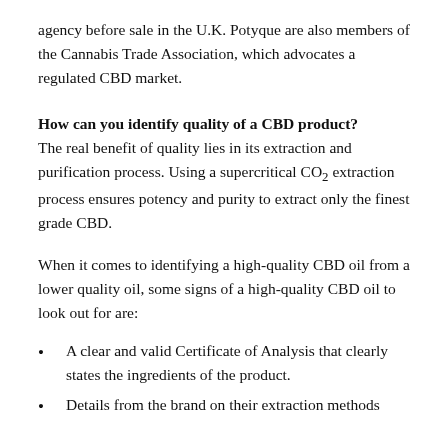agency before sale in the U.K. Potyque are also members of the Cannabis Trade Association, which advocates a regulated CBD market.
How can you identify quality of a CBD product?
The real benefit of quality lies in its extraction and purification process. Using a supercritical CO₂ extraction process ensures potency and purity to extract only the finest grade CBD.
When it comes to identifying a high-quality CBD oil from a lower quality oil, some signs of a high-quality CBD oil to look out for are:
A clear and valid Certificate of Analysis that clearly states the ingredients of the product.
Details from the brand on their extraction methods